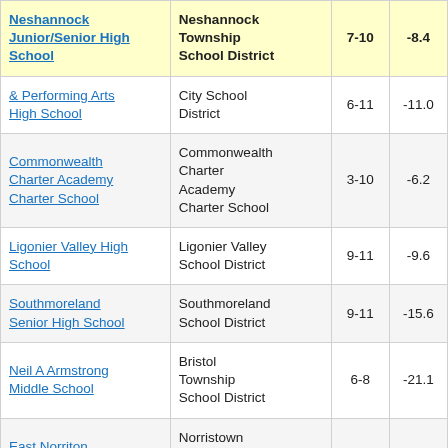| School | District | Grades | Value |
| --- | --- | --- | --- |
| Neshannock Junior/Senior High School | Neshannock Township School District | 7-10 | -8.4 |
| & Performing Arts High School | City School District | 6-11 | -11.0 |
| Commonwealth Charter Academy Charter School | Commonwealth Charter Academy Charter School | 3-10 | -6.2 |
| Ligonier Valley High School | Ligonier Valley School District | 9-11 | -9.6 |
| Southmoreland Senior High School | Southmoreland School District | 9-11 | -15.6 |
| Neil A Armstrong Middle School | Bristol Township School District | 6-8 | -21.1 |
| East Norriton Middle School | Norristown Area School District | 5-8 | -14.9 |